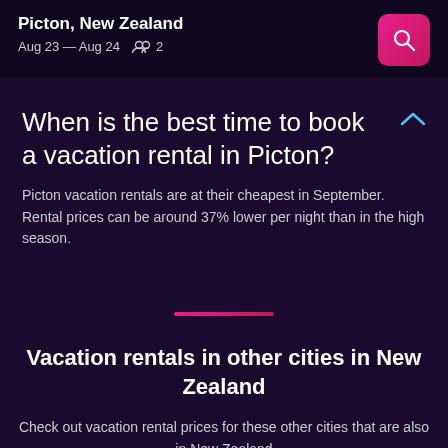Picton, New Zealand
Aug 23 — Aug 24  2
When is the best time to book a vacation rental in Picton?
Picton vacation rentals are at their cheapest in September. Rental prices can be around 37% lower per night than in the high season.
Vacation rentals in other cities in New Zealand
Check out vacation rental prices for these other cities that are also in New Zealand